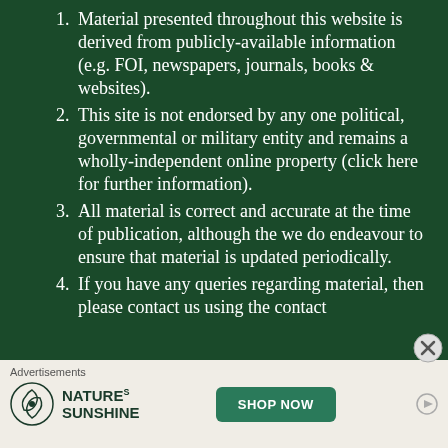Material presented throughout this website is derived from publicly-available information (e.g. FOI, newspapers, journals, books & websites).
This site is not endorsed by any one political, governmental or military entity and remains a wholly-independent online property (click here for further information).
All material is correct and accurate at the time of publication, although the we do endeavour to ensure that material is updated periodically.
If you have any queries regarding material, then please contact us using the contact
Advertisements
[Figure (other): Nature's Sunshine advertisement banner with logo and SHOP NOW button]